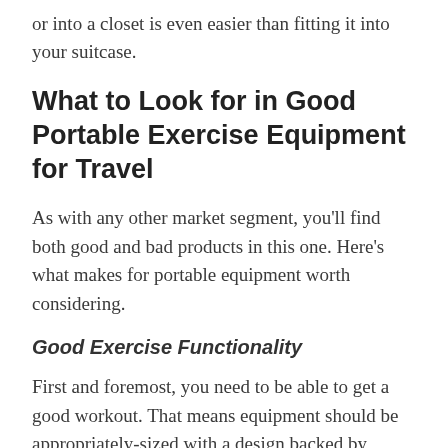or into a closet is even easier than fitting it into your suitcase.
What to Look for in Good Portable Exercise Equipment for Travel
As with any other market segment, you'll find both good and bad products in this one. Here's what makes for portable equipment worth considering.
Good Exercise Functionality
First and foremost, you need to be able to get a good workout. That means equipment should be appropriately-sized with a design backed by